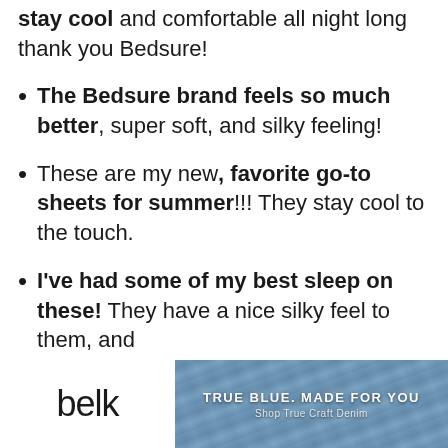stay cool and comfortable all night long thank you Bedsure!
The Bedsure brand feels so much better, super soft, and silky feeling!
These are my new, favorite go-to sheets for summer!!! They stay cool to the touch.
I've had some of my best sleep on these! They have a nice silky feel to them, and
[Figure (advertisement): Belk advertisement banner showing denim jeans background with text TRUE BLUE. MADE FOR YOU and Shop True Craft Denim]